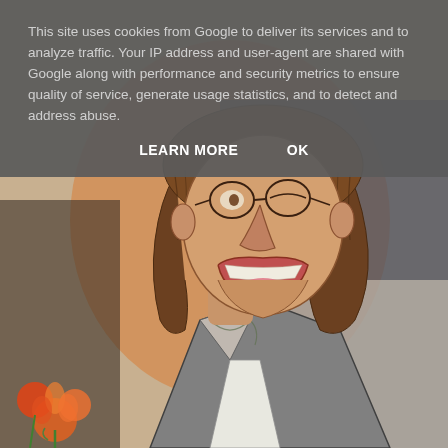[Figure (illustration): Watercolor and ink illustration of a cartoon-like person with round glasses, shoulder-length brown hair, wide open laughing mouth, wearing a grey jacket/vest, with orange flowers visible in the lower left corner. Background has orange and dark blue-grey washes.]
This site uses cookies from Google to deliver its services and to analyze traffic. Your IP address and user-agent are shared with Google along with performance and security metrics to ensure quality of service, generate usage statistics, and to detect and address abuse.
LEARN MORE    OK